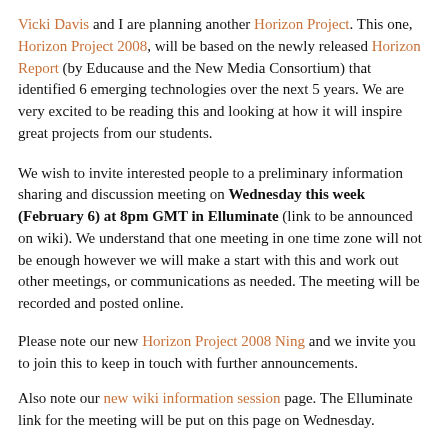Vicki Davis and I are planning another Horizon Project. This one, Horizon Project 2008, will be based on the newly released Horizon Report (by Educause and the New Media Consortium) that identified 6 emerging technologies over the next 5 years. We are very excited to be reading this and looking at how it will inspire great projects from our students.
We wish to invite interested people to a preliminary information sharing and discussion meeting on Wednesday this week (February 6) at 8pm GMT in Elluminate (link to be announced on wiki). We understand that one meeting in one time zone will not be enough however we will make a start with this and work out other meetings, or communications as needed. The meeting will be recorded and posted online.
Please note our new Horizon Project 2008 Ning and we invite you to join this to keep in touch with further announcements.
Also note our new wiki information session page. The Elluminate link for the meeting will be put on this page on Wednesday.
So, come and join us for some discussion and find out more! There